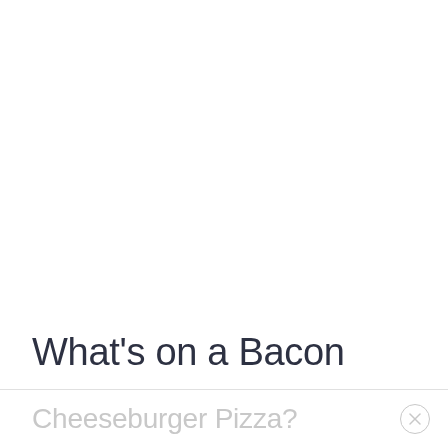What's on a Bacon
Cheeseburger Pizza?